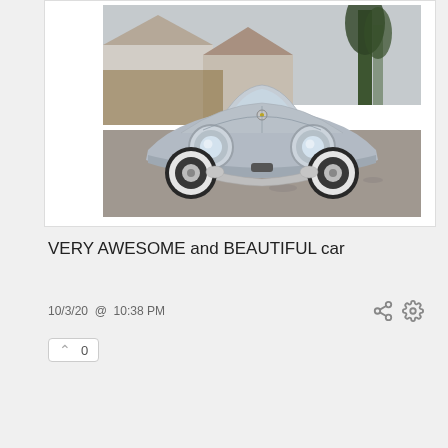[Figure (photo): Silver/grey vintage Porsche 356 Speedster replica parked on a gravel driveway in front of suburban houses. The car has white wall tires, round headlights, and a sleek curved body. Overcast sky, green trees and wooden fence in background.]
VERY AWESOME and BEAUTIFUL car
10/3/20  @  10:38 PM